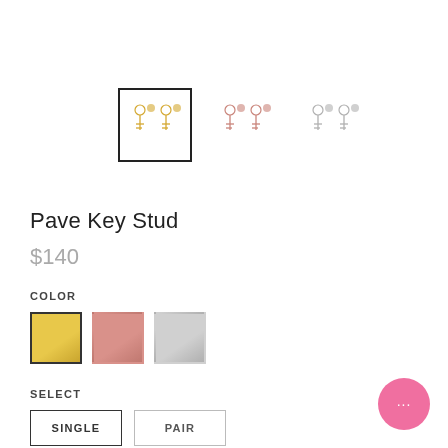[Figure (photo): Three thumbnail images of Pave Key Stud earrings: gold (selected, with border), rose gold, and silver, shown as small stud earring pairs.]
Pave Key Stud
$140
COLOR
[Figure (other): Three color swatches: gold (selected with black border), rose gold, silver.]
SELECT
[Figure (other): Two selection buttons: SINGLE (selected, black border) and PAIR (unselected, lighter border).]
[Figure (other): Pink circular chat/help button with ellipsis icon in the bottom right corner.]